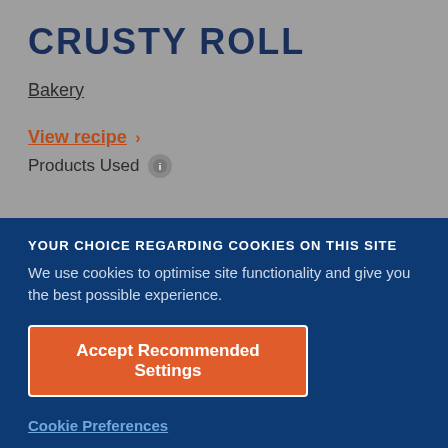CRUSTY ROLL
Bakery
View recipe >
Products Used
YOUR CHOICE REGARDING COOKIES ON THIS SITE
We use cookies to optimise site functionality and give you the best possible experience.
Accept Recommended Settings
Cookie Preferences